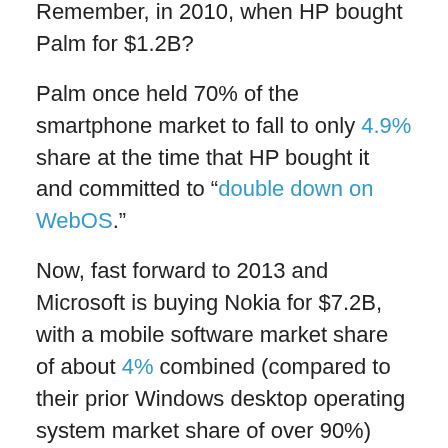Remember, in 2010, when HP bought Palm for $1.2B?
Palm once held 70% of the smartphone market to fall to only 4.9% share at the time that HP bought it and committed to “double down on WebOS.”
Now, fast forward to 2013 and Microsoft is buying Nokia for $7.2B, with a mobile software market share of about 4% combined (compared to their prior Windows desktop operating system market share of over 90%) and ZDNet reporting that it was “double down or quit.”
When HP bought Palm, it was a hardware maker buying software; now with Microsoft buying Nokia, it is the software maker buying the hardware vendor.
But in both cases, it’s the same losing proposition.
In 2010, at the time that HP bought Palm, Stephen Elop